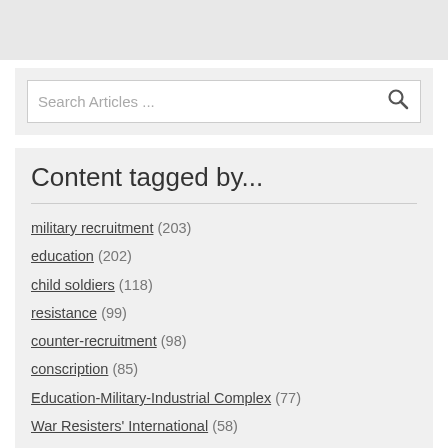[Figure (screenshot): Top grey bar area]
[Figure (screenshot): Search Articles input box with search icon]
Content tagged by...
military recruitment (203)
education (202)
child soldiers (118)
resistance (99)
counter-recruitment (98)
conscription (85)
Education-Military-Industrial Complex (77)
War Resisters' International (58)
conscientious objection (49)
militainment (47)
gender (43)
commons (43)
direct action (38)
militarised mascunlinity (37)
reports (34)